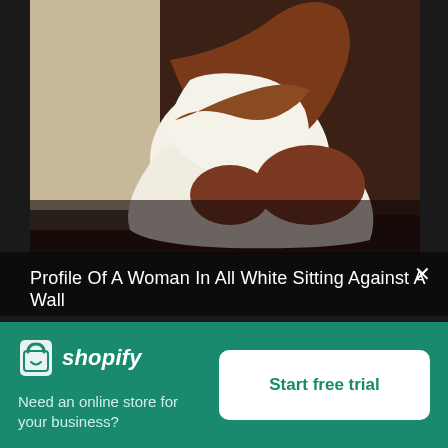[Figure (photo): A woman dressed in all white sitting against a wall, hugging her knees, photographed from the side.]
Profile Of A Woman In All White Sitting Against A Wall
[Figure (logo): Shopify logo with shopping bag icon and italic 'shopify' text in white on green background]
Need an online store for your business?
Start free trial